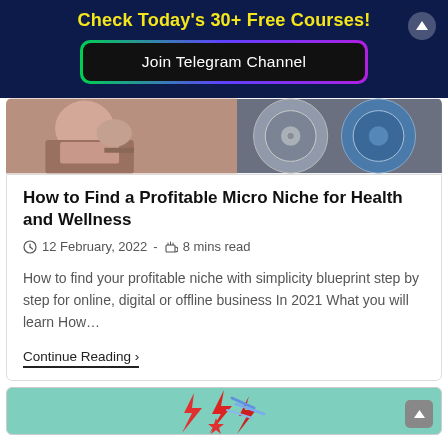Check Today's 30+ Free Courses!
Join Telegram Channel
[Figure (photo): Composite image: left side shows a person sitting outdoors with a laptop, right side shows gray metallic circular drum surfaces and a blue drum.]
How to Find a Profitable Micro Niche for Health and Wellness
12 February, 2022 · 8 mins read
How to find your profitable niche with simplicity blueprint step by step for online, digital or offline business In 2021 What you will learn How…
Continue Reading ›
[Figure (photo): Partial view of a card with teal/mint green background showing red lightning bolt graphics at the bottom of the page.]